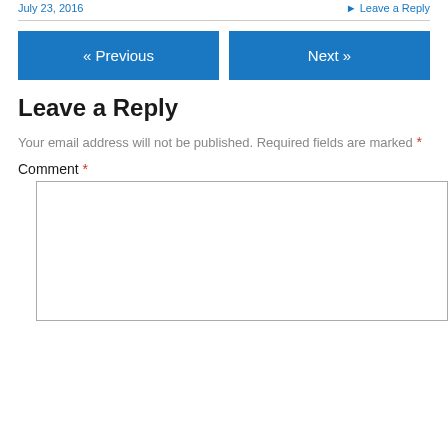July 23, 2016   Leave a Reply
« Previous
Next »
Leave a Reply
Your email address will not be published. Required fields are marked *
Comment *